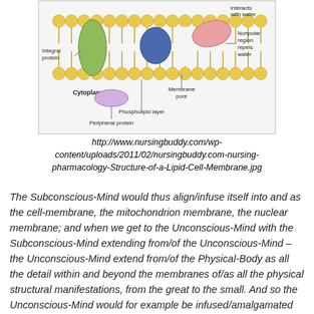[Figure (illustration): Diagram of a lipid cell membrane cross-section showing integral protein, cytoplasm, peripheral protein, phospholipid layer, membrane pore, nonpolar region repels water, and polar region interacts with water.]
http://www.nursingbuddy.com/wp-content/uploads/2011/02/nursingbuddy.com-nursing-pharmacology-Structure-of-a-Lipid-Cell-Membrane.jpg
The Subconscious-Mind would thus align/infuse itself into and as the cell-membrane, the mitochondrion membrane, the nuclear membrane; and when we get to the Unconscious-Mind with the Subconscious-Mind extending from/of the Unconscious-Mind – the Unconscious-Mind extend from/of the Physical-Body as all the detail within and beyond the membranes of/as all the physical structural manifestations, from the great to the small. And so the Unconscious-Mind would for example be infused/amalgamated and aligned with, as and into the 'building block' chemicals, nutrients, substances that